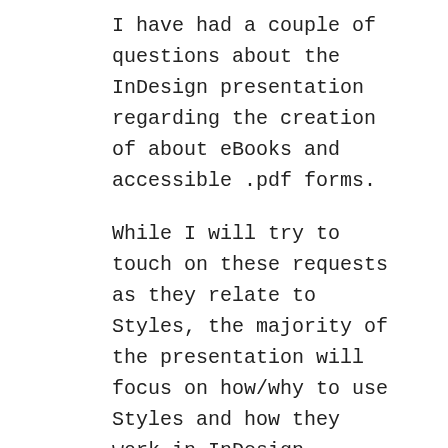I have had a couple of questions about the InDesign presentation regarding the creation of about eBooks and accessible .pdf forms.
While I will try to touch on these requests as they relate to Styles, the majority of the presentation will focus on how/why to use Styles and how they work in InDesign.
So, let's make a wish list! What InDesign topics would you like to see at a future presentation? Share your ideas in the comments below!